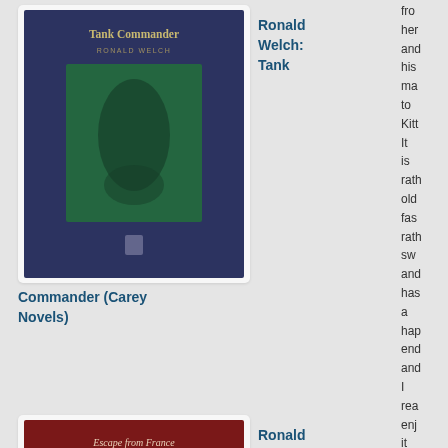[Figure (photo): Book cover of Tank Commander by Ronald Welch - dark navy blue cover with green illustration]
Ronald Welch: Tank Commander (Carey Novels)
from her and his ma to Kitt It is rath old fas rath sw and has a hap end and I rea enj it
[Figure (photo): Book cover of Escape from France by Ronald Welch - dark red/maroon cover with illustration]
Ronald Welch: Escape from France (Carey Novels)
[Figure (photo): Book cover of Ensign Carey by Ronald Welch - green cover with illustration]
Ronald Welch: Ensign Carey (Carey Novels)